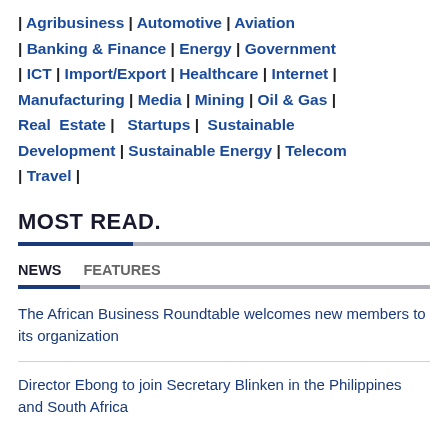| Agribusiness | Automotive | Aviation | Banking & Finance | Energy | Government | ICT | Import/Export | Healthcare | Internet | Manufacturing | Media | Mining | Oil & Gas | Real Estate | Startups | Sustainable Development | Sustainable Energy | Telecom | Travel |
MOST READ.
NEWS   FEATURES
The African Business Roundtable welcomes new members to its organization
Director Ebong to join Secretary Blinken in the Philippines and South Africa